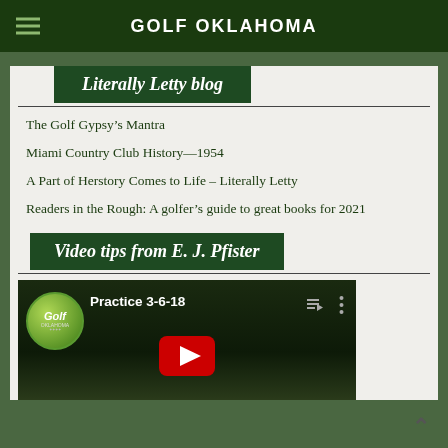GOLF OKLAHOMA
Literally Letty blog
The Golf Gypsy’s Mantra
Miami Country Club History—1954
A Part of Herstory Comes to Life – Literally Letty
Readers in the Rough: A golfer’s guide to great books for 2021
Video tips from E. J. Pfister
[Figure (screenshot): YouTube video thumbnail showing Golf Oklahoma logo and title 'Practice 3-6-18' with a YouTube play button]